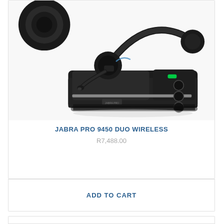[Figure (photo): Jabra Pro 9450 Duo Wireless headset with charging base/docking station and a separate ear cushion shown in top-left corner. The headset is black with a microphone boom arm. The base station has control buttons and a green indicator light.]
JABRA PRO 9450 DUO WIRELESS
R7,488.00
ADD TO CART